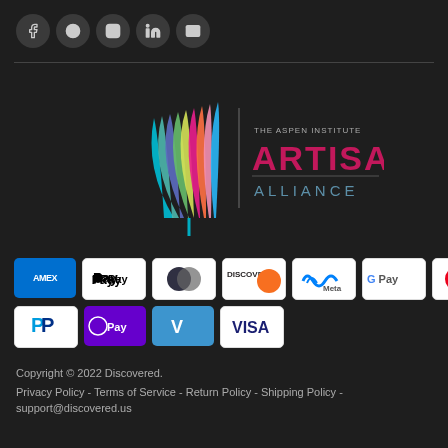[Figure (logo): Social media icons row: Facebook, Pinterest, Instagram, LinkedIn, Email]
[Figure (logo): The Aspen Institute Artisan Alliance logo with colorful leaf/feather mark and text]
[Figure (other): Payment method icons: AMEX, Apple Pay, Diners Club, Discover, Meta Pay, Google Pay, Mastercard, PayPal, Samsung Pay, Venmo, Visa]
Copyright © 2022 Discovered.
Privacy Policy - Terms of Service - Return Policy - Shipping Policy - support@discovered.us